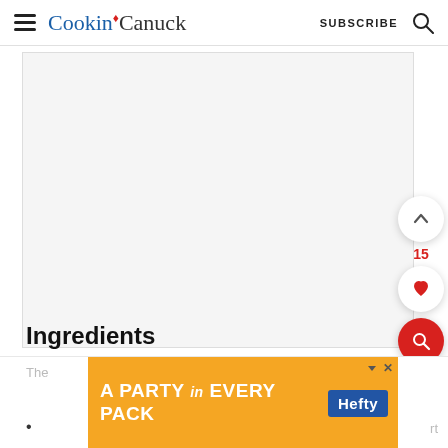Cookin' Canuck — SUBSCRIBE
[Figure (other): Large blank white content area with rounded rectangle border, representing a recipe image or content block]
Ingredients
The
• [ingredient item] rt
[Figure (other): Advertisement banner: orange background with text 'A PARTY in EVERY PACK' and Hefty logo in blue]